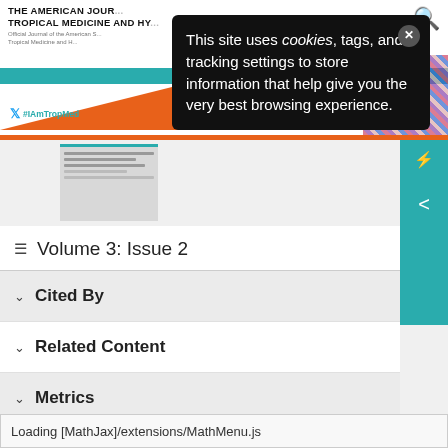THE AMERICAN JOURNAL OF TROPICAL MEDICINE AND HY...
This site uses cookies, tags, and tracking settings to store information that help give you the very best browsing experience.
[Figure (screenshot): Article thumbnail preview image showing document lines]
Volume 3: Issue 2
Cited By
Related Content
Metrics
Loading [MathJax]/extensions/MathMenu.js